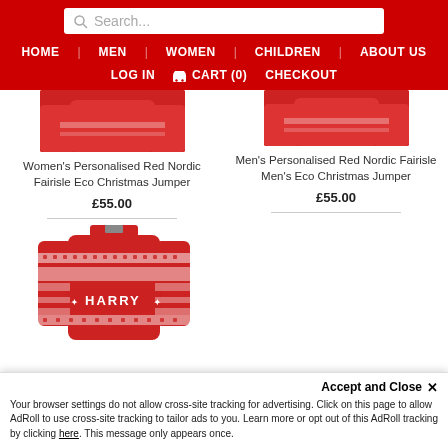Search... HOME | MEN | WOMEN | CHILDREN | ABOUT US | LOG IN | CART (0) | CHECKOUT
[Figure (photo): Partial view of red Nordic Fairisle women's Christmas jumper (top portion cropped)]
Women's Personalised Red Nordic Fairisle Eco Christmas Jumper
£55.00
[Figure (photo): Partial view of red Nordic Fairisle men's Christmas jumper (top portion cropped)]
Men's Personalised Red Nordic Fairisle Men's Eco Christmas Jumper
£55.00
[Figure (photo): Red Nordic Fairisle Christmas jumper with 'HARRY' name personalisation in white letters across the front]
Accept and Close ✕
Your browser settings do not allow cross-site tracking for advertising. Click on this page to allow AdRoll to use cross-site tracking to tailor ads to you. Learn more or opt out of this AdRoll tracking by clicking here. This message only appears once.